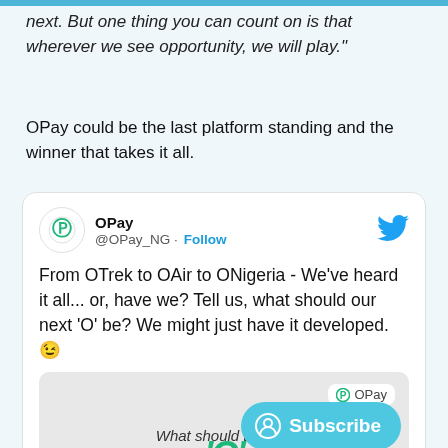next. But one thing you can count on is that wherever we see opportunity, we will play."
OPay could be the last platform standing and the winner that takes it all.
[Figure (screenshot): Embedded tweet from @OPay_NG showing the text: 'From OTrek to OAir to ONigeria - We've heard it all... or, have we? Tell us, what should our next 'O' be? We might just have it developed. 😉' with a nested image showing 'What should the n... O' branding and a Subscribe button overlay.]